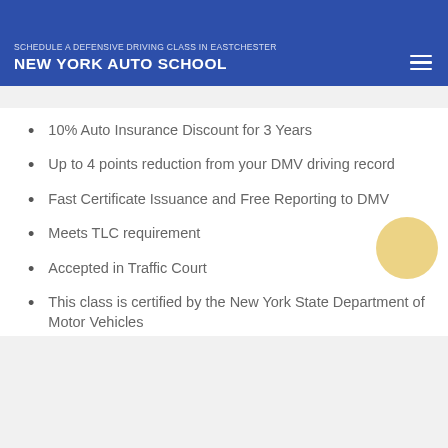NEW YORK AUTO SCHOOL / SCHEDULE A DEFENSIVE DRIVING CLASS IN EASTCHESTER
10% Auto Insurance Discount for 3 Years
Up to 4 points reduction from your DMV driving record
Fast Certificate Issuance and Free Reporting to DMV
Meets TLC requirement
Accepted in Traffic Court
This class is certified by the New York State Department of Motor Vehicles